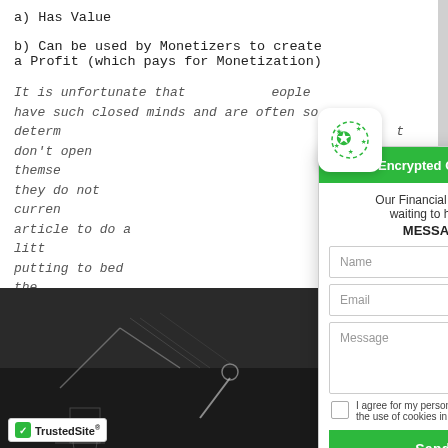a) Has Value
b) Can be used by Monetizers to create a Profit (which pays for Monetization)
It is unfortunate that [some] people have such closed minds and are often so determined [to] don't open themselves [to what] they do not currently [know. I urge] article to do a little [research before] putting to bed the [idea that X can] be monetized.
[Figure (photo): Photo of a person drawing architectural/financial diagrams on a dark chalkboard background]
Secure Encrypted Chat - Write Now
Our Financial Instrument Expert is waiting to help you................
MESSAGE US NOW!
Name
Email
Message
I agree for my personal data to be processed and for the use of cookies in order to engage in a chat
Send message